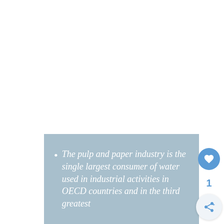The pulp and paper industry is the single largest consumer of water used in industrial activities in OECD countries and in the third greatest...